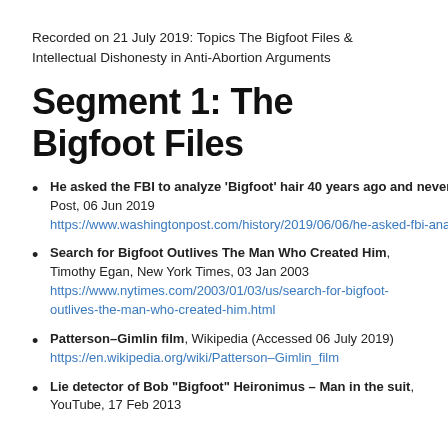Recorded on 21 July 2019: Topics The Bigfoot Files & Intellectual Dishonesty in Anti-Abortion Arguments
Segment 1: The Bigfoot Files
He asked the FBI to analyze 'Bigfoot' hair 40 years ago and never heard back. Until now., Reis Thebault, Washington Post, 06 Jun 2019 https://www.washingtonpost.com/history/2019/06/06/he-asked-fbi-analyze-bigfoot-hair-years-ago-never-heard-back-until-now
Search for Bigfoot Outlives The Man Who Created Him, Timothy Egan, New York Times, 03 Jan 2003 https://www.nytimes.com/2003/01/03/us/search-for-bigfoot-outlives-the-man-who-created-him.html
Patterson–Gimlin film, Wikipedia (Accessed 06 July 2019) https://en.wikipedia.org/wiki/Patterson–Gimlin_film
Lie detector of Bob "Bigfoot" Heironimus – Man in the suit, YouTube, 17 Feb 2013